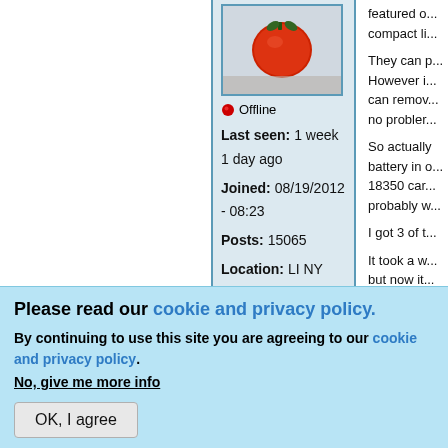[Figure (photo): Avatar image of a red object on a light background, inside a blue-bordered box]
🔴 Offline
Last seen: 1 week 1 day ago
Joined: 08/19/2012 - 08:23
Posts: 15065
Location: LI NY
featured o... compact li...
They can p... However i... can remov... no probler...
So actually battery in o... 18350 car... probably w...
I got 3 of t...
It took a w... but now it... will happe...
Please read our cookie and privacy policy.
By continuing to use this site you are agreeing to our cookie and privacy policy. No, give me more info
OK, I agree